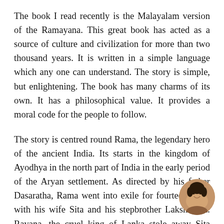The book I read recently is the Malayalam version of the Ramayana. This great book has acted as a source of culture and civilization for more than two thousand years. It is written in a simple language which any one can understand. The story is simple, but enlightening. The book has many charms of its own. It has a philosophical value. It provides a moral code for the people to follow.
The story is centred round Rama, the legendary hero of the ancient India. Its starts in the kingdom of Ayodhya in the north part of India in the early period of the Aryan settlement. As directed by his father Dasaratha, Rama went into exile for fourteen years with his wife Sita and his stepbrother Lakshmana. Ravana, the cruel king of Lanka stole away Sita treacherously. Rama, with the help of a monkey army, invaded Lanka, defeated and killed Ravana and set Sita free. He came back
[Figure (photo): Small circular avatar photo of a smiling woman, positioned in the bottom-right corner of the page]